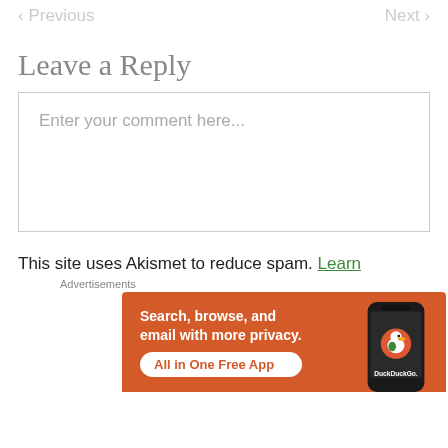< Previous    Next >
Leave a Reply
Enter your comment here...
This site uses Akismet to reduce spam. Learn
Advertisements
[Figure (screenshot): DuckDuckGo advertisement banner: orange background with text 'Search, browse, and email with more privacy. All in One Free App' and DuckDuckGo logo with a phone image.]